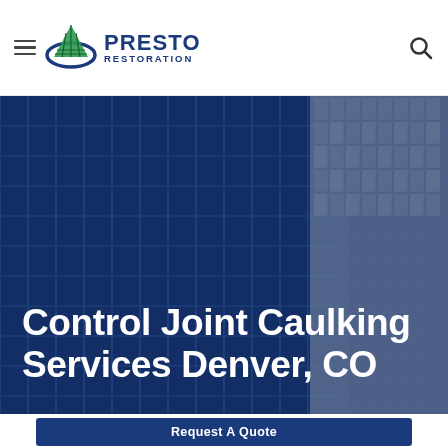Presto Restoration — navigation header with hamburger menu, logo, and search icon
[Figure (screenshot): Hero banner showing a tall glass commercial building facade shot from below, with a dark navy blue overlay. White bold text reads 'Control Joint Caulking Services Denver, CO']
Control Joint Caulking Services Denver, CO
Request A Quote